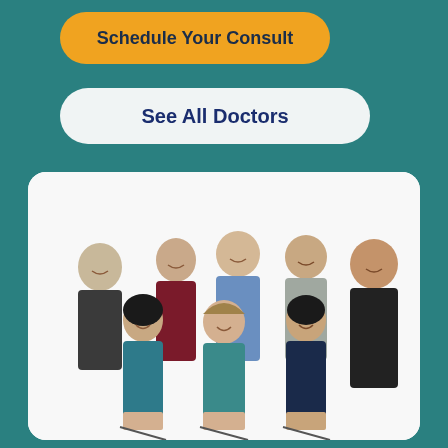Schedule Your Consult
See All Doctors
[Figure (photo): Group photo of 8 doctors (5 men, 3 women) posed together in professional attire against a white background. Three women and five men, some seated and some standing.]